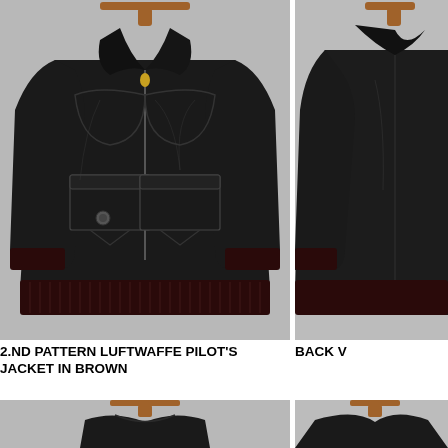[Figure (photo): Front view of a dark brown/black leather Luftwaffe pilot's bomber jacket hanging on a wooden hanger against a light grey background. The jacket features a pointed collar, front zipper, two large chest panels with stitching, two front flap pockets, knit ribbed cuffs and waistband in dark brown.]
[Figure (photo): Partial back/side view of the same dark brown leather Luftwaffe pilot's jacket, showing the sleeve and back portion against a light grey background.]
2.ND PATTERN LUFTWAFFE PILOT'S JACKET IN BROWN
BACK V
[Figure (photo): Partial bottom view of another jacket on a wooden hanger, bottom portion cut off.]
[Figure (photo): Partial bottom right photo, partially visible.]